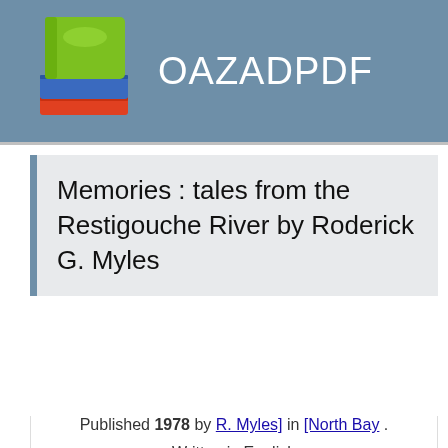OAZADPDF
Memories : tales from the Restigouche River by Roderick G. Myles
Published 1978 by R. Myles] in [North Bay .
Written in English